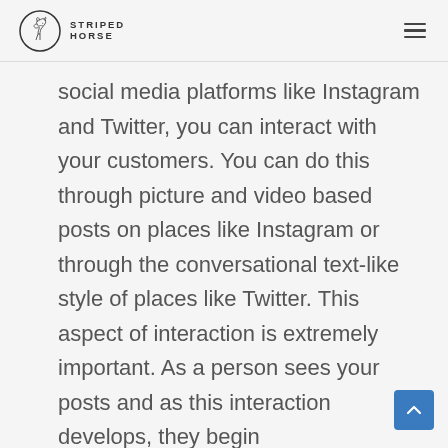STRIPED HORSE
social media platforms like Instagram and Twitter, you can interact with your customers. You can do this through picture and video based posts on places like Instagram or through the conversational text-like style of places like Twitter. This aspect of interaction is extremely important. As a person sees your posts and as this interaction develops, they begin